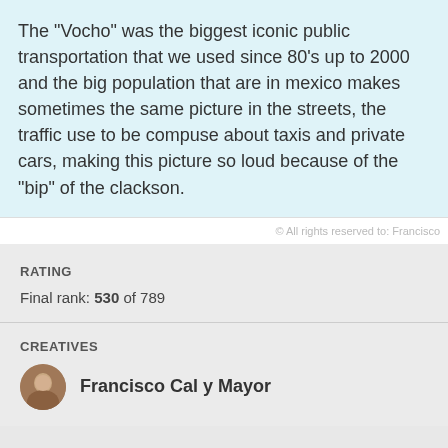The "Vocho" was the biggest iconic public transportation that we used since 80's up to 2000 and the big population that are in mexico makes sometimes the same picture in the streets, the traffic use to be compuse about taxis and private cars, making this picture so loud because of the "bip" of the clackson.
© All rights reserved to: Francisco
RATING
Final rank: 530 of 789
CREATIVES
Francisco Cal y Mayor